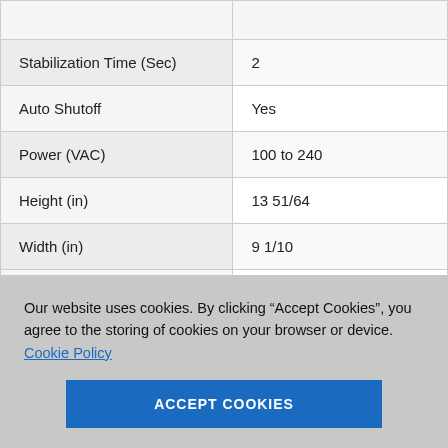| Specification | Value |
| --- | --- |
| Stabilization Time (Sec) | 2 |
| Auto Shutoff | Yes |
| Power (VAC) | 100 to 240 |
| Height (in) | 13 51/64 |
| Width (in) | 9 1/10 |
| Depth (in) | 15 1/2 |
| Pan Diameter (in) | 3 1/2 |
| Draft Shield Height (in) | 9 13/32 |
Our website uses cookies. By clicking “Accept Cookies”, you agree to the storing of cookies on your browser or device. Cookie Policy